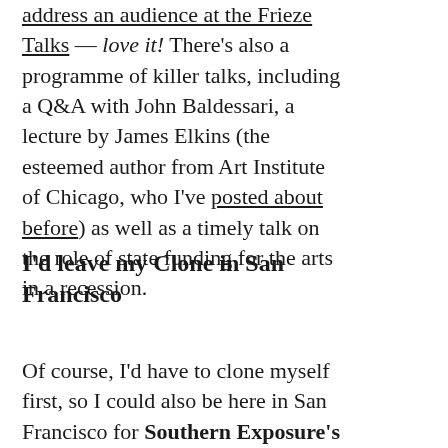address an audience at the Frieze Talks — love it! There's also a programme of killer talks, including a Q&A with John Baldessari, a lecture by James Elkins (the esteemed author from Art Institute of Chicago, who I've posted about before) as well as a timely talk on the role of state funding for the arts in a recession.
I'd leave my Clone in San Francisco
Of course, I'd have to clone myself first, so I could also be here in San Francisco for Southern Exposure's Grand Opening and the opening...